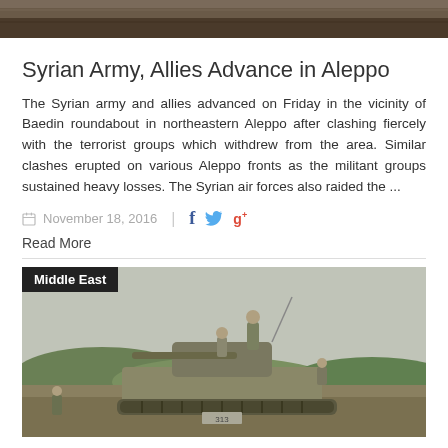[Figure (photo): Top portion of a news article image (cropped), showing dark textured surface]
Syrian Army, Allies Advance in Aleppo
The Syrian army and allies advanced on Friday in the vicinity of Baedin roundabout in northeastern Aleppo after clashing fiercely with the terrorist groups which withdrew from the area. Similar clashes erupted on various Aleppo fronts as the militant groups sustained heavy losses. The Syrian air forces also raided the ...
November 18, 2016
Read More
[Figure (photo): Military tank with soldiers on top, in a field. Category label 'Middle East' shown in black badge at top left.]